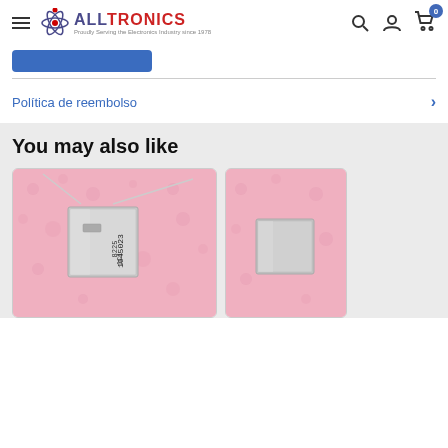ALLTRONICS - Proudly Serving the Electronics Industry since 1978
Política de reembolso
You may also like
[Figure (photo): Electronic component (crystal oscillator or capacitor) with wire leads on pink anti-static foam, labeled 1945023, 8225, IC1]
[Figure (photo): Electronic component (crystal oscillator or capacitor) partially visible on pink anti-static foam]